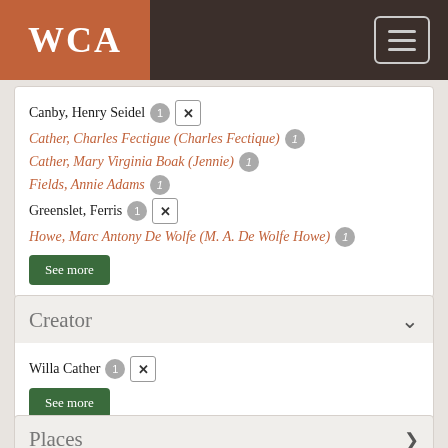WCA
Canby, Henry Seidel [1] [x]
Cather, Charles Fectigue (Charles Fectique) [1]
Cather, Mary Virginia Boak (Jennie) [1]
Fields, Annie Adams [1]
Greenslet, Ferris [1] [x]
Howe, Marc Antony De Wolfe (M. A. De Wolfe Howe) [1]
See more
Creator
Willa Cather [1] [x]
See more
Places